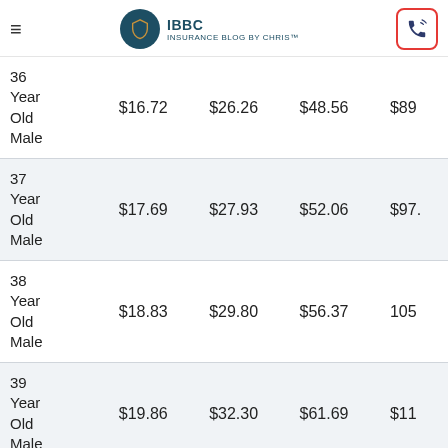IBBC INSURANCE BLOG BY CHRIS™
| Age/Gender | Plan A | Plan B | Plan C | Plan D |
| --- | --- | --- | --- | --- |
| 36 Year Old Male | $16.72 | $26.26 | $48.56 | $89... |
| 37 Year Old Male | $17.69 | $27.93 | $52.06 | $97... |
| 38 Year Old Male | $18.83 | $29.80 | $56.37 | 105... |
| 39 Year Old Male | $19.86 | $32.30 | $61.69 | $11... |